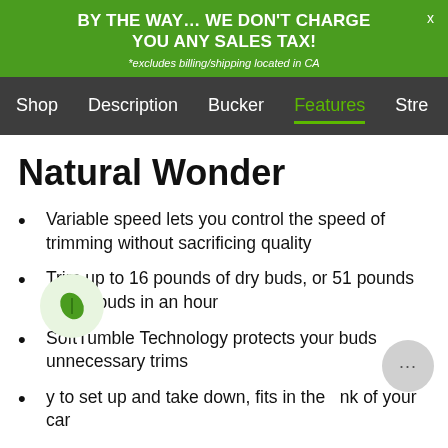BY THE WAY… WE DON'T CHARGE YOU ANY SALES TAX! *excludes billing/shipping located in CA
Shop  Description  Bucker  Features  Stre
Natural Wonder
Variable speed lets you control the speed of trimming without sacrificing quality
Trim up to 16 pounds of dry buds, or 51 pounds of wet buds in an hour
SoftTumble Technology protects your buds unnecessary trims
y to set up and take down, fits in the nk of your car